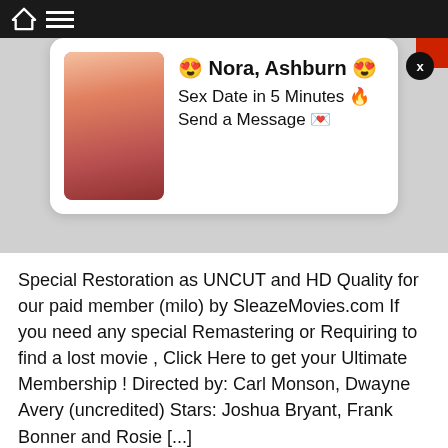[Figure (screenshot): Ad popup card showing a woman's photo with text: 😍 Nora, Ashburn 😍 Sex Date in 5 Minutes 🔥 Send a Message 💌]
Special Restoration as UNCUT and HD Quality for our paid member (milo) by SleazeMovies.com If you need any special Remastering or Requiring to find a lost movie , Click Here to get your Ultimate Membership ! Directed by: Carl Monson, Dwayne Avery (uncredited) Stars: Joshua Bryant, Frank Bonner and Rosie [...]